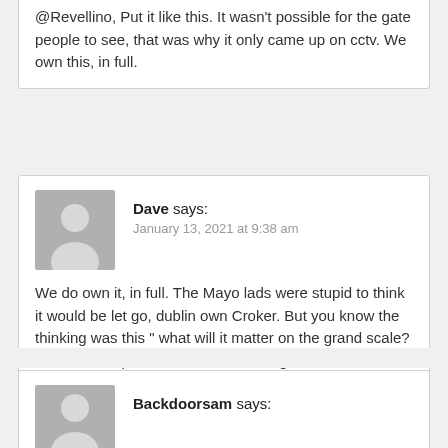@Revellino, Put it like this. It wasn't possible for the gate people to see, that was why it only came up on cctv. We own this, in full.
Dave says:
January 13, 2021 at 9:38 am
We do own it, in full. The Mayo lads were stupid to think it would be let go, dublin own Croker. But you know the thinking was this " what will it matter on the grand scale? ". It doesn't apart from us commenting and the media being the media on slow gaa sports news days.
I know we have terrible stuff going on in Ireland today , but in the name of trying to see a bit of daylight, will the national league go ahead?
Backdoorsam says: